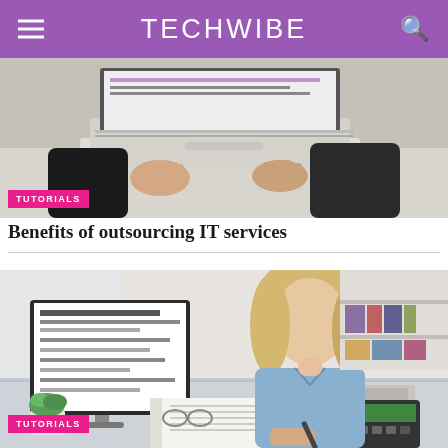TECHWIBE
[Figure (photo): Person working on laptop keyboard, close-up view from above]
TUTORIALS
Benefits of outsourcing IT services
[Figure (photo): Blonde woman in blue blouse working at desk with monitor displaying document, writing in notebook and using calculator]
TUTORIALS